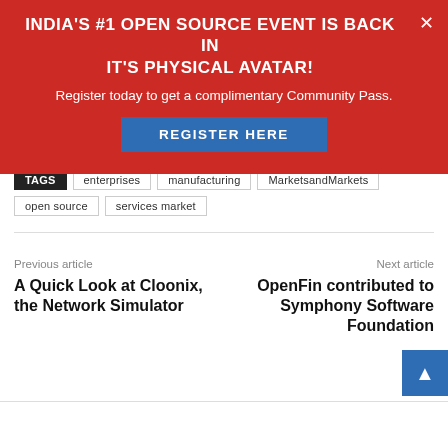INDIA'S #1 OPEN SOURCE EVENT IS BACK IN IT'S PHYSICAL AVATAR!
Register today to get a complimentary Community Pass.
REGISTER HERE
TAGS  enterprises  manufacturing  MarketsandMarkets  open source  services market
Previous article
A Quick Look at Cloonix, the Network Simulator
Next article
OpenFin contributed to Symphony Software Foundation